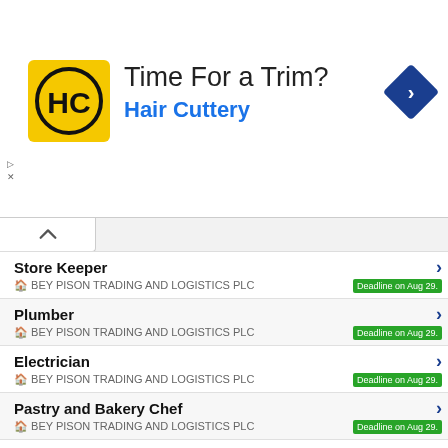[Figure (advertisement): Hair Cuttery ad banner with yellow logo showing HC initials, text 'Time For a Trim?' and 'Hair Cuttery' in blue, and a blue navigation/direction diamond icon on the right]
Store Keeper — BEY PISON TRADING AND LOGISTICS PLC — Deadline on Aug 29.
Plumber — BEY PISON TRADING AND LOGISTICS PLC — Deadline on Aug 29.
Electrician — BEY PISON TRADING AND LOGISTICS PLC — Deadline on Aug 29.
Pastry and Bakery Chef — BEY PISON TRADING AND LOGISTICS PLC — Deadline on Aug 29.
Chef — BEY PISON TRADING AND LOGISTICS PLC — Deadline on Aug 29.